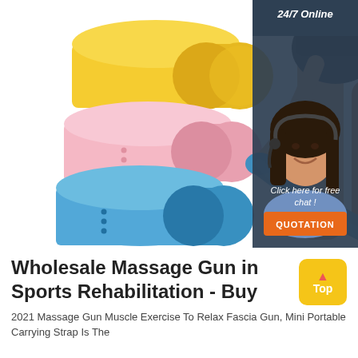[Figure (photo): Product photo showing three rolled resistance/exercise bands in yellow, pink, and blue colors stacked vertically on the left, a woman in athletic wear using a blue resistance band, and a small black drawstring bag. Sidebar shows a woman with a headset (customer service rep), '24/7 Online' text, 'Click here for free chat!' and an orange QUOTATION button on a dark blue-gray background.]
Wholesale Massage Gun in Sports Rehabilitation - Buy
2021 Massage Gun Muscle Exercise To Relax Fascia Gun, Mini Portable Carrying Strap Is The